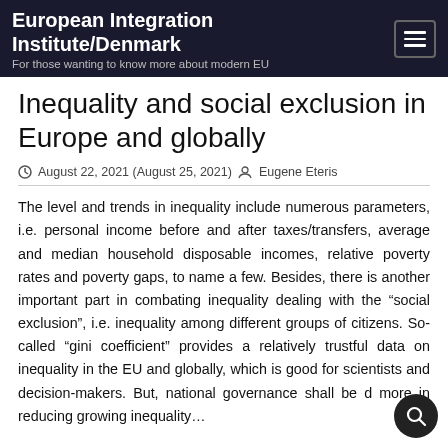European Integration Institute/Denmark
For those wanting to know more about modern EU
Inequality and social exclusion in Europe and globally
August 22, 2021 (August 25, 2021)  Eugene Eteris
The level and trends in inequality include numerous parameters, i.e. personal income before and after taxes/transfers, average and median household disposable incomes, relative poverty rates and poverty gaps, to name a few. Besides, there is another important part in combating inequality dealing with the “social exclusion”, i.e. inequality among different groups of citizens. So-called “gini coefficient” provides a relatively trustful data on inequality in the EU and globally, which is good for scientists and decision-makers. But, national governance shall be d more in reducing growing inequality…